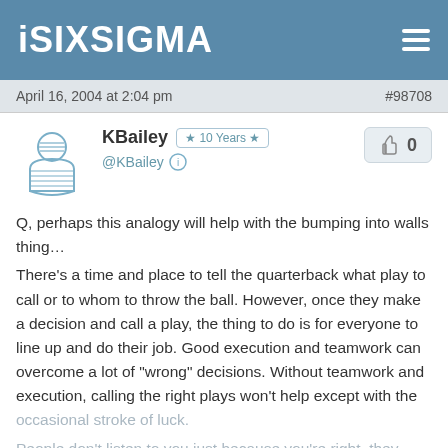iSixSigma
April 16, 2004 at 2:04 pm   #98708
KBailey  ★ 10 Years ★  @KBailey  👍 0
Q, perhaps this analogy will help with the bumping into walls thing… There's a time and place to tell the quarterback what play to call or to whom to throw the ball. However, once they make a decision and call a play, the thing to do is for everyone to line up and do their job. Good execution and teamwork can overcome a lot of "wrong" decisions. Without teamwork and execution, calling the right plays won't help except with the occasional stroke of luck. People don't listen to you just because you're right, they listen to you because they trust you and respect your...